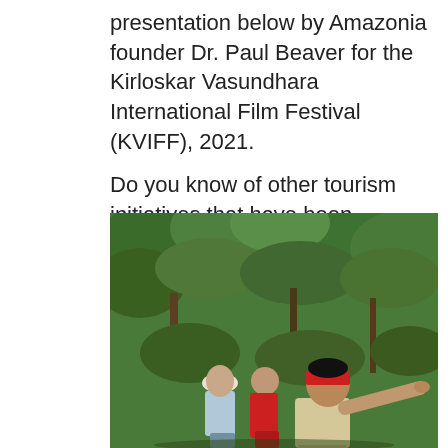presentation below by Amazonia founder Dr. Paul Beaver for the Kirloskar Vasundhara International Film Festival (KVIFF), 2021.
Do you know of other tourism initiatives that have been successful at restoring endangered animal populations? Let us know in the comments below!
[Figure (photo): Outdoor scene in a jungle/forest setting. A man wearing a red bandana and a light yellow shirt is pointing to the right. Next to him is a person in a white hat and another person in a red jacket, both looking in the direction he is pointing. Dense green foliage and trees fill the background.]